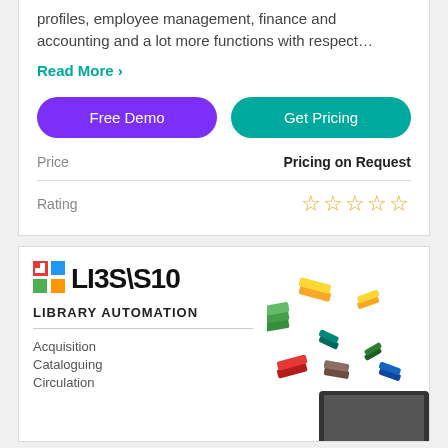profiles, employee management, finance and accounting and a lot more functions with respect…
Read More ›
Free Demo
Get Pricing
Price
Pricing on Request
Rating
[Figure (other): Five outlined star icons in gold/orange indicating a rating field with no stars filled]
[Figure (logo): LIBSYS10 library automation logo with colorful square icon and books flying out of a laptop]
LIBRARY AUTOMATION
Acquisition
Cataloguing
Circulation